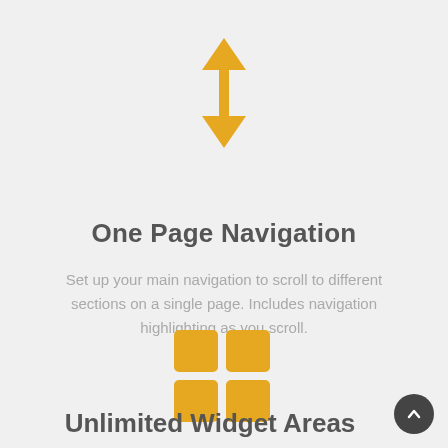[Figure (illustration): Orange double-headed vertical arrow icon]
One Page Navigation
Set up your main navigation to scroll to different sections on a single page. Includes navigation highlighting as you scroll.
[Figure (illustration): Orange 2x2 grid of squares (widget areas icon)]
Unlimited Widget Areas